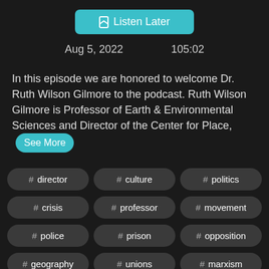[Figure (screenshot): Listen Later button with bookmark icon on teal background]
Aug 5, 2022    105:02
In this episode we are honored to welcome Dr. Ruth Wilson Gilmore to the podcast. Ruth Wilson Gilmore is Professor of Earth & Environmental Sciences and Director of the Center for Place,
See More
# director
# culture
# politics
# crisis
# professor
# movement
# police
# prison
# opposition
# geography
# unions
# marxism